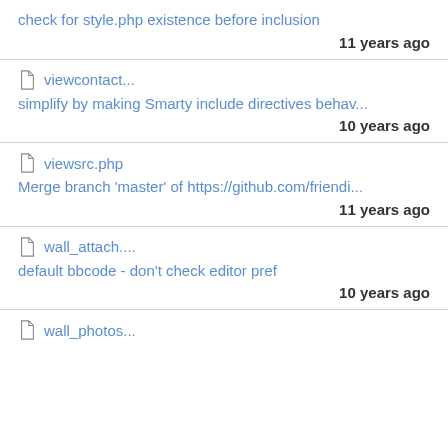check for style.php existence before inclusion
11 years ago
viewcontact...
simplify by making Smarty include directives behav...
10 years ago
viewsrc.php
Merge branch 'master' of https://github.com/friendi...
11 years ago
wall_attach....
default bbcode - don't check editor pref
10 years ago
wall_photos...